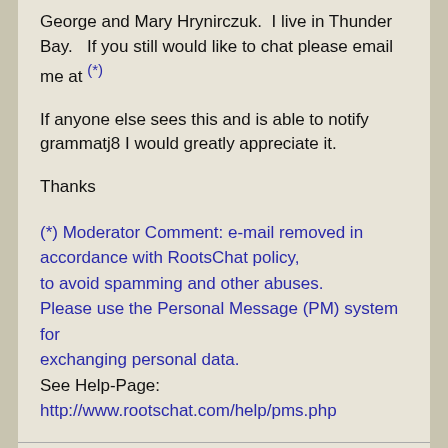George and Mary Hrynirczuk.  I live in Thunder Bay.   If you still would like to chat please email me at (*)
If anyone else sees this and is able to notify grammatj8 I would greatly appreciate it.
Thanks
(*) Moderator Comment: e-mail removed in accordance with RootsChat policy,
to avoid spamming and other abuses.
Please use the Personal Message (PM) system for exchanging personal data.
See Help-Page:  http://www.rootschat.com/help/pms.php
6  Canada / Re: A question about Rootschat
« on: Friday 21 August 20 21:42 BST (UK)  »
Hello grammatj8